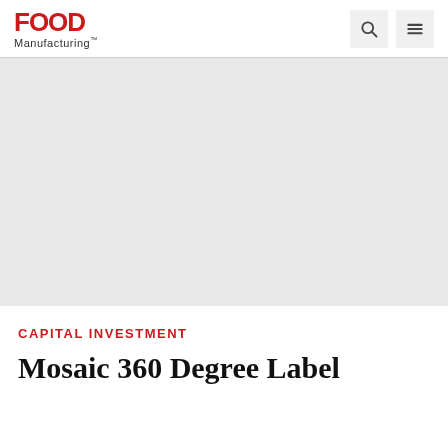Food Manufacturing
[Figure (photo): Grey placeholder image area for article image]
CAPITAL INVESTMENT
Mosaic 360 Degree Label